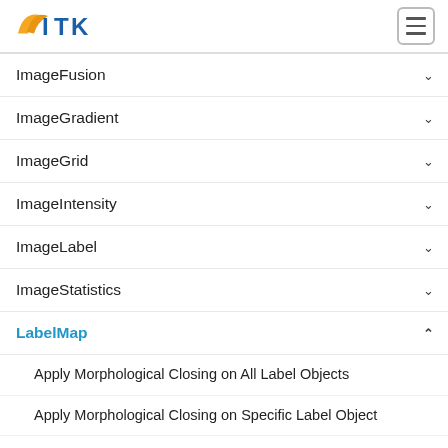[Figure (logo): ITK/STK logo in yellow and blue]
ImageFusion
ImageGradient
ImageGrid
ImageIntensity
ImageLabel
ImageStatistics
LabelMap (expanded/active)
Apply Morphological Closing on All Label Objects
Apply Morphological Closing on Specific Label Object
Convert itk::Image With Labels to Label Map (active)
Convert Image With Labeled Regions to ShapeLabelMap
Convert Label Map to Normal Image